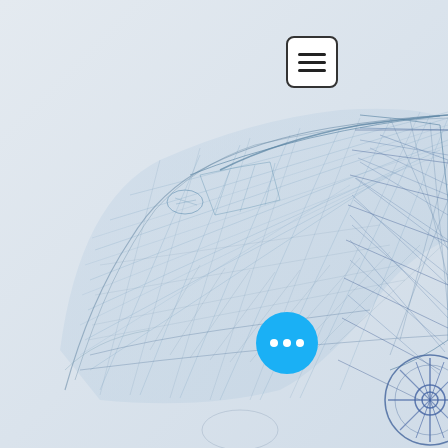[Figure (illustration): Wireframe/mesh 3D rendering of a car (SUV/sedan) shown in light blue-grey tones on a light grey background. The car mesh shows the hood, roof, windshield, door panels, side mirror, and front wheel with alloy rim detail visible on the right edge. The wireframe lines form a polygonal grid over the car surface.]
[Figure (other): Hamburger menu button — white rounded square with three horizontal dark lines, positioned top-right area]
[Figure (other): Blue circular 'more options' button with three white dots, positioned bottom-right area]